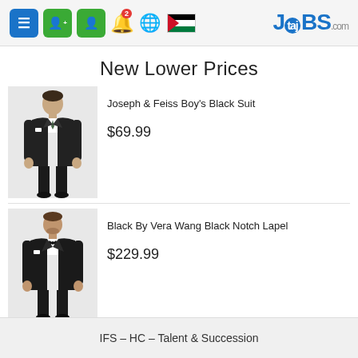[Figure (screenshot): Website navigation bar with hamburger menu (blue), two green person icons, notification bell with badge '2', globe icon, Jordan flag, and TajJobs.com logo on the right]
New Lower Prices
[Figure (photo): Boy wearing Joseph & Feiss black suit, standing against light gray background]
Joseph & Feiss Boy's Black Suit
$69.99
[Figure (photo): Man wearing Black By Vera Wang black notch lapel tuxedo, standing against light gray background]
Black By Vera Wang Black Notch Lapel
$229.99
IFS – HC – Talent & Succession